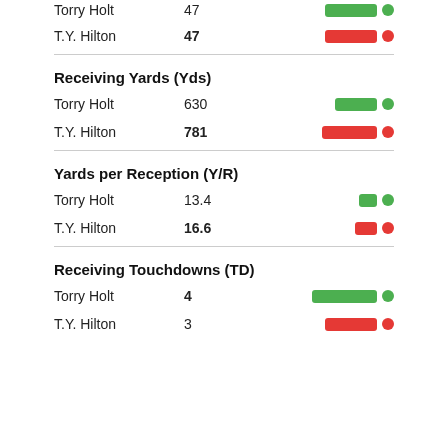Torry Holt  47
T.Y. Hilton  47
Receiving Yards (Yds)
Torry Holt  630
T.Y. Hilton  781
Yards per Reception (Y/R)
Torry Holt  13.4
T.Y. Hilton  16.6
Receiving Touchdowns (TD)
Torry Holt  4
T.Y. Hilton  3